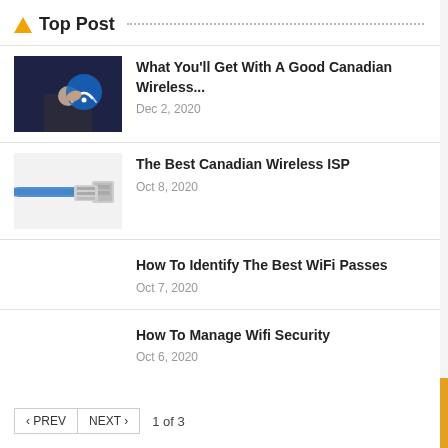Top Post
What You'll Get With A Good Canadian Wireless...
Dec 2, 2020
The Best Canadian Wireless ISP
Oct 8, 2020
How To Identify The Best WiFi Passes
Oct 7, 2020
How To Manage Wifi Security
Oct 6, 2020
< PREV  NEXT >  1 of 3